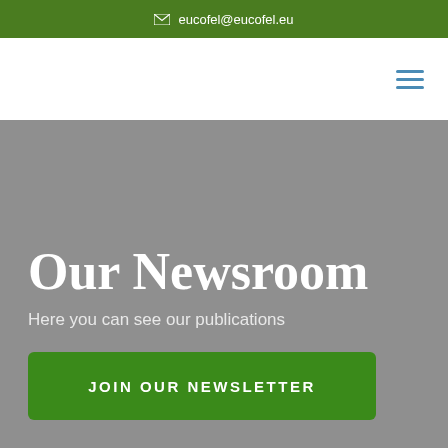eucofel@eucofel.eu
[Figure (other): Hamburger menu icon (three horizontal lines) in the navigation bar]
Our Newsroom
Here you can see our publications
JOIN OUR NEWSLETTER